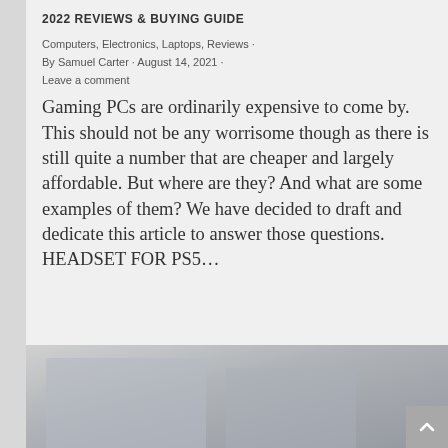2022 REVIEWS & BUYING GUIDE
Computers, Electronics, Laptops, Reviews · By Samuel Carter · August 14, 2021 · Leave a comment
Gaming PCs are ordinarily expensive to come by. This should not be any worrisome though as there is still quite a number that are cheaper and largely affordable. But where are they? And what are some examples of them? We have decided to draft and dedicate this article to answer those questions. HEADSET FOR PS5…
[Figure (photo): Partial photo of laptops or monitors on a desk, shown at the bottom of the page]